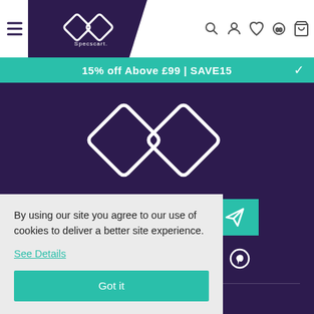[Figure (screenshot): Specscart website navbar with hamburger menu, logo on dark background trapezoid, search, user, wishlist, store and cart icons]
15% off Above £99 | SAVE15
[Figure (logo): Specscart logo — two overlapping rotated squares outline in white on dark purple background]
[Figure (screenshot): Newsletter input field with placeholder 'Join us for our newsletter' and teal send button]
[Figure (screenshot): Row of social media icons: Facebook, Twitter, Instagram, LinkedIn, YouTube, Pinterest — all white on dark purple]
By using our site you agree to our use of cookies to deliver a better site experience.
See Details
Got it